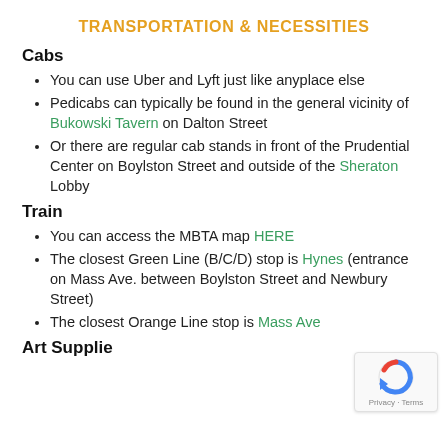TRANSPORTATION & NECESSITIES
Cabs
You can use Uber and Lyft just like anyplace else
Pedicabs can typically be found in the general vicinity of Bukowski Tavern on Dalton Street
Or there are regular cab stands in front of the Prudential Center on Boylston Street and outside of the Sheraton Lobby
Train
You can access the MBTA map HERE
The closest Green Line (B/C/D) stop is Hynes (entrance on Mass Ave. between Boylston Street and Newbury Street)
The closest Orange Line stop is Mass Ave
Art Supplies